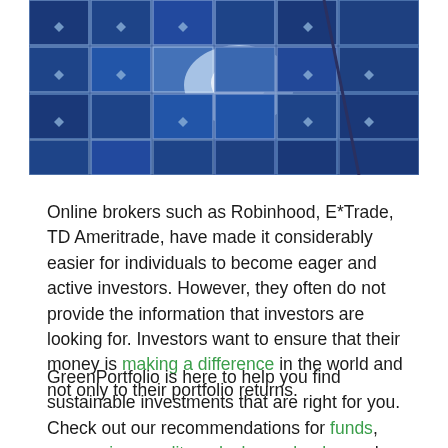[Figure (photo): Close-up photograph of solar panels with blue tones, showing photovoltaic cells arranged in a grid pattern with a bright light reflection in the center]
Online brokers such as Robinhood, E*Trade, TD Ameritrade, have made it considerably easier for individuals to become eager and active investors. However, they often do not provide the information that investors are looking for. Investors want to ensure that their money is making a difference in the world and not only to their portfolio returns.
GreenPortfolio is here to help you find sustainable investments that are right for you. Check out our recommendations for funds, companies, credit cards, loans, banks, and nonprofits that allow you to